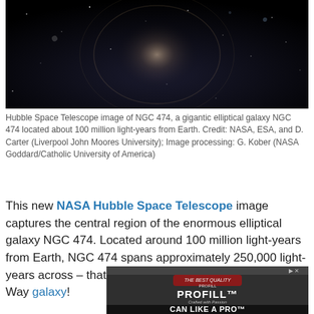[Figure (photo): Hubble Space Telescope image showing a dark star field with the elliptical galaxy NGC 474 at center, with shells and faint stars visible against a black background.]
Hubble Space Telescope image of NGC 474, a gigantic elliptical galaxy NGC 474 located about 100 million light-years from Earth. Credit: NASA, ESA, and D. Carter (Liverpool John Moores University); Image processing: G. Kober (NASA Goddard/Catholic University of America)
This new NASA Hubble Space Telescope image captures the central region of the enormous elliptical galaxy NGC 474. Located around 100 million light-years from Earth, NGC 474 spans approximately 250,000 light-years across – that's 2.5 times larger than our own Milky Way galaxy!
[Figure (photo): Advertisement for PROFILL product showing canning lids with text CAN LIKE A PRO.]